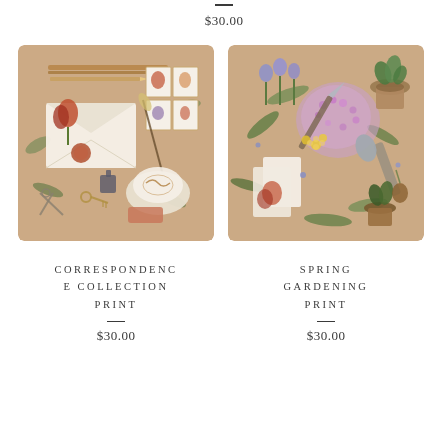$30.00
[Figure (illustration): Correspondence Collection Print: flat-lay illustration on warm beige/tan background showing envelope with wax seal, postage stamps with botanical motifs, pens, scissors, keys, ink bottle, coffee latte, and small decorative items]
[Figure (illustration): Spring Gardening Print: flat-lay illustration on warm beige/tan background showing garden tools (trowel, knife), potted plants, lilac blossoms, blue bell flowers, yellow flowers, seed packets with floral illustrations, bulbs, and botanical elements]
CORRESPONDENCE COLLECTION PRINT
$30.00
SPRING GARDENING PRINT
$30.00